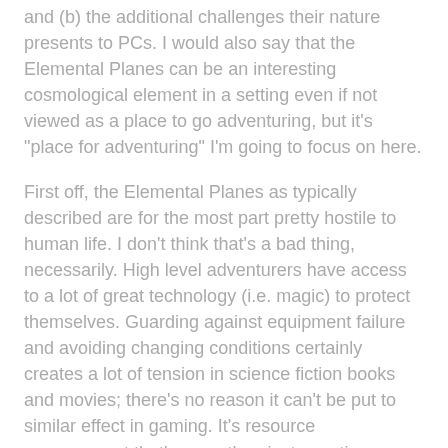They're interesting because of (a) what you can put in them and (b) the additional challenges their nature presents to PCs. I would also say that the Elemental Planes can be an interesting cosmological element in a setting even if not viewed as a place to go adventuring, but it's "place for adventuring" I'm going to focus on here.
First off, the Elemental Planes as typically described are for the most part pretty hostile to human life. I don't think that's a bad thing, necessarily. High level adventurers have access to a lot of great technology (i.e. magic) to protect themselves. Guarding against equipment failure and avoiding changing conditions certainly creates a lot of tension in science fiction books and movies; there's no reason it can't be put to similar effect in gaming. It's resource management that's more than just counting.
Here are some brief ideas and inspirations for Elemental Plane adventures:
[Figure (photo): A dark image with a glowing orb or light source at the bottom center, set against a deep purple and black background, suggesting a fantasy or cosmic scene.]